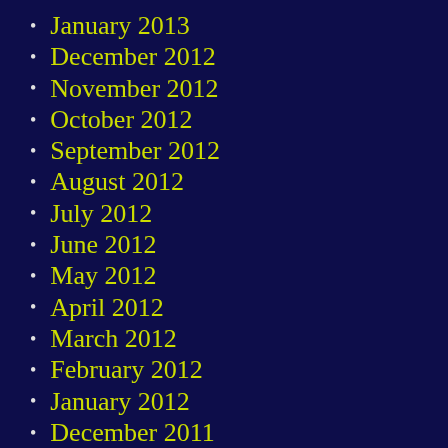January 2013
December 2012
November 2012
October 2012
September 2012
August 2012
July 2012
June 2012
May 2012
April 2012
March 2012
February 2012
January 2012
December 2011
September 2011
July 2011